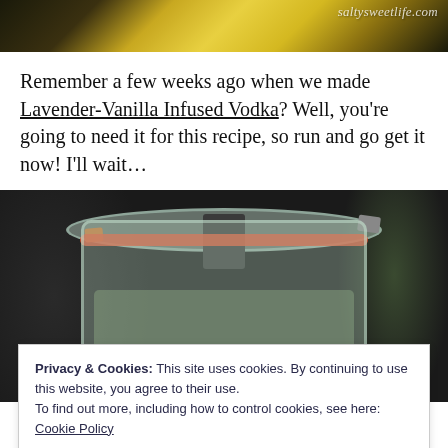[Figure (photo): Top portion of a food/drink blog image showing lemon slices with a watermark reading 'saltysweetlife.com']
Remember a few weeks ago when we made Lavender-Vanilla Infused Vodka? Well, you’re going to need it for this recipe, so run and go get it now!  I’ll wait…
[Figure (photo): Close-up photo of a glass Weck jar with orange rubber seal and metal clip closures, containing herbs/lavender, on a dark background]
Privacy & Cookies: This site uses cookies. By continuing to use this website, you agree to their use.
To find out more, including how to control cookies, see here:
Cookie Policy
Close and accept